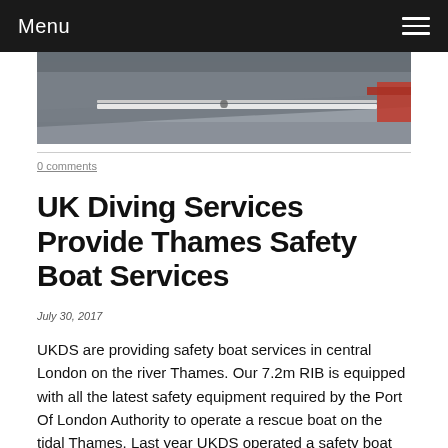Menu
[Figure (photo): Aerial or close-up photograph of a boat on water, showing grey hull and red details along the edge]
0 comments
UK Diving Services Provide Thames Safety Boat Services
July 30, 2017
UKDS are providing safety boat services in central London on the river Thames. Our 7.2m RIB is equipped with all the latest safety equipment required by the Port Of London Authority to operate a rescue boat on the tidal Thames. Last year UKDS operated a safety boat on behalf of Mackley at London Bridge whilst the new staircase was being fabricated and installed adjacent and over the waterway. During the 6 month